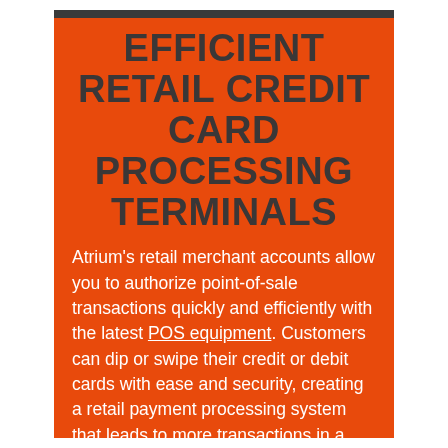EFFICIENT RETAIL CREDIT CARD PROCESSING TERMINALS
Atrium's retail merchant accounts allow you to authorize point-of-sale transactions quickly and efficiently with the latest POS equipment. Customers can dip or swipe their credit or debit cards with ease and security, creating a retail payment processing system that leads to more transactions in a shorter period of time. With faster checkouts and efficient data verifications, you improve customer service while dramatically increasing sales.